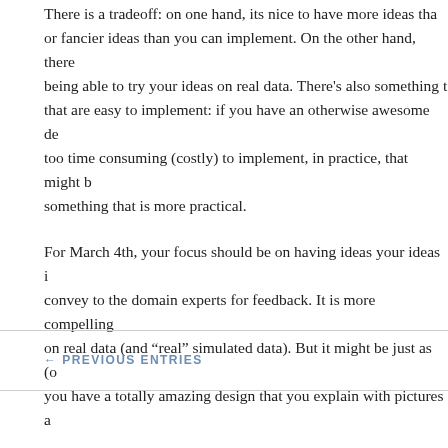There is a tradeoff: on one hand, its nice to have more ideas than or fancier ideas than you can implement. On the other hand, there being able to try your ideas on real data. There's also something t that are easy to implement: if you have an otherwise awesome de too time consuming (costly) to implement, in practice, that might b something that is more practical.
For March 4th, your focus should be on having ideas your ideas i convey to the domain experts for feedback. It is more compelling on real data (and “real” simulated data). But it might be just as (o you have a totally amazing design that you explain with pictures a
My hope is that each group will do a lot of thinking and designing, bit of implementing.
← PREVIOUS ENTRIES